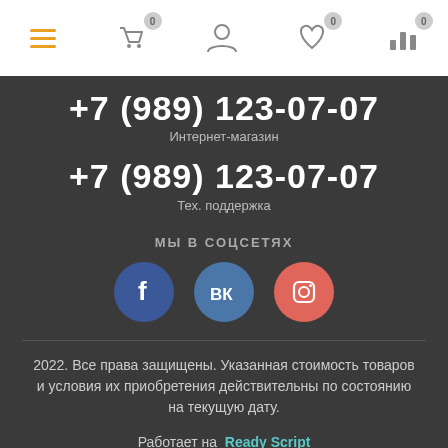Navigation bar with menu, cart (0), account, favorites (0), analytics (0) icons
+7 (989) 123-07-07
Интернет-магазин
+7 (989) 123-07-07
Тех. поддержка
МЫ В СОЦСЕТЯХ
[Figure (infographic): Three social media icons: Facebook (blue circle with f), VK (blue circle with VK), Instagram (salmon/red circle with camera icon)]
2022. Все права защищены. Указанная стоимость товаров и условия их приобретения действительны по состоянию на текущую дату.
Работает на Ready Script